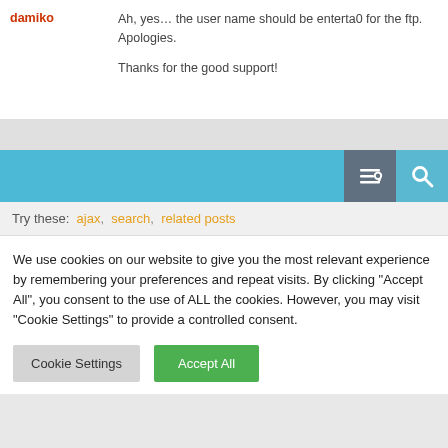damiko
Ah, yes… the user name should be enterta0 for the ftp. Apologies.

Thanks for the good support!
[Figure (screenshot): Blue search bar with filter/settings icon and search magnifying glass icon on the right]
Try these: ajax, search, related posts
We use cookies on our website to give you the most relevant experience by remembering your preferences and repeat visits. By clicking "Accept All", you consent to the use of ALL the cookies. However, you may visit "Cookie Settings" to provide a controlled consent.
Cookie Settings | Accept All